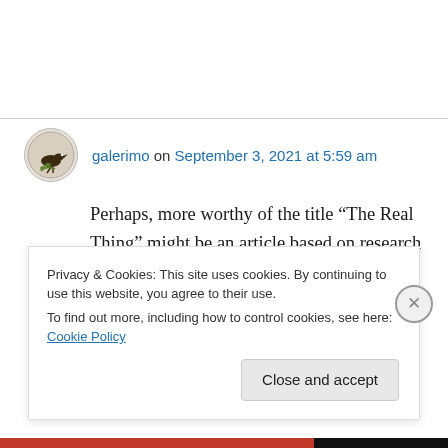galerimo on September 3, 2021 at 5:59 am
Perhaps, more worthy of the title “The Real Thing” might be an article based on research into responses from Catholics, to questions such as –
What priority is given in your local Church
Privacy & Cookies: This site uses cookies. By continuing to use this website, you agree to their use.
To find out more, including how to control cookies, see here: Cookie Policy
Close and accept